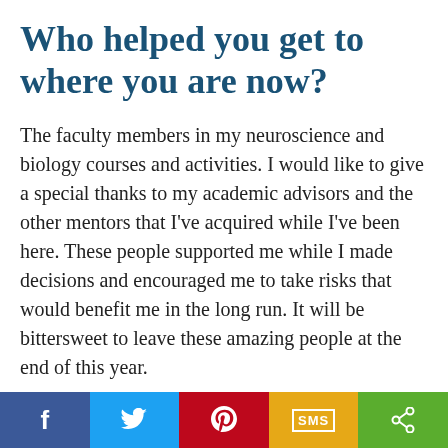Who helped you get to where you are now?
The faculty members in my neuroscience and biology courses and activities. I would like to give a special thanks to my academic advisors and the other mentors that I've acquired while I've been here. These people supported me while I made decisions and encouraged me to take risks that would benefit me in the long run. It will be bittersweet to leave these amazing people at the end of this year.
I would also say that my roommate/best friend and my family have played a major role in...
[Figure (infographic): Social share bar with five buttons: Facebook (blue), Twitter (light blue), Pinterest (red), SMS (gold/yellow), Share (green)]